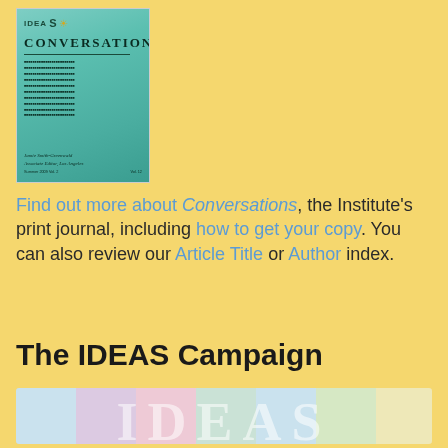[Figure (illustration): Cover of the Conversations print journal with a teal/green background, featuring the IDEAS logo with a sun graphic, the title CONVERSATIONS in serif font, body text lines, and author/footer information.]
Find out more about Conversations, the Institute's print journal, including how to get your copy. You can also review our Article Title or Author index.
The IDEAS Campaign
[Figure (illustration): The IDEAS Campaign banner image showing colorful vertical pastel columns with the large letters IDEAS overlaid in a light transparent style.]